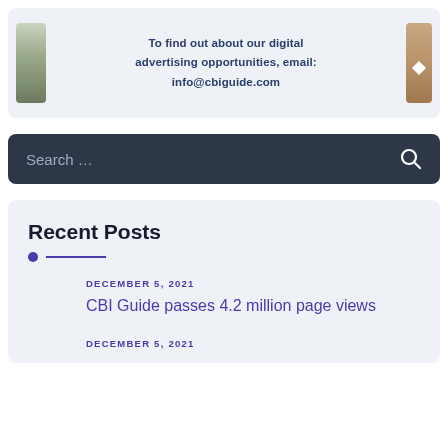[Figure (other): Advertisement banner with decorative images on left and right sides. Center text reads 'To find out about our digital advertising opportunities, email: info@cbiguide.com']
To find out about our digital advertising opportunities, email: info@cbiguide.com
Search ...
Recent Posts
DECEMBER 5, 2021
CBI Guide passes 4.2 million page views
DECEMBER 5, 2021